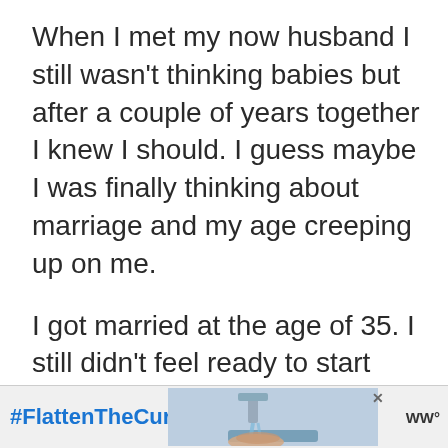When I met my now husband I still wasn't thinking babies but after a couple of years together I knew I should. I guess maybe I was finally thinking about marriage and my age creeping up on me.
I got married at the age of 35. I still didn't feel ready to start having babies but I knew then I should probably start trying if having children was important to us.
[Figure (other): Advertisement banner at the bottom with #FlattenTheCurve hashtag in blue, a photo of hands washing under a faucet, an X close button, and a logo on the right.]